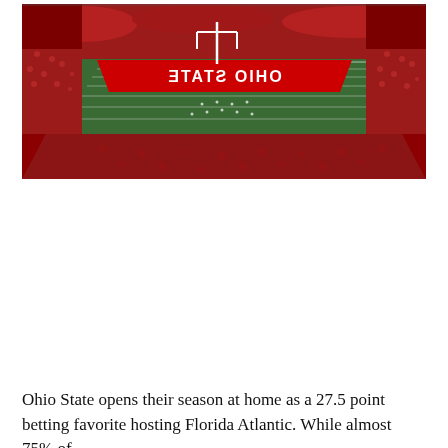[Figure (photo): Aerial view of Ohio State football stadium packed with fans in red, showing the end zone with 'OHIO STATE' written in white letters on a red background. The field and stands are filled with a sea of red-clad spectators.]
Ohio State opens their season at home as a 27.5 point betting favorite hosting Florida Atlantic. While almost 75% of